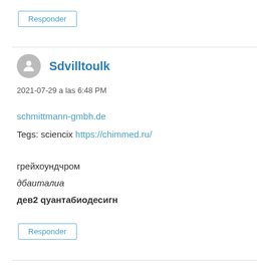Responder
Sdvilltoulk
2021-07-29 a las 6:48 PM
schmittmann-gmbh.de
Tegs: sciencix https://chimmed.ru/
грейхоундчром
дбаиталиа
дев2 qуантабиодесигн
Responder